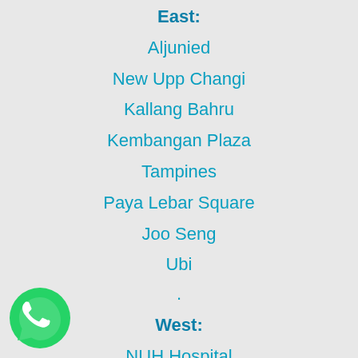East:
Aljunied
New Upp Changi
Kallang Bahru
Kembangan Plaza
Tampines
Paya Lebar Square
Joo Seng
Ubi
.
West:
NUH Hospital
Clementi
[Figure (logo): WhatsApp icon — green circle with white phone handset]